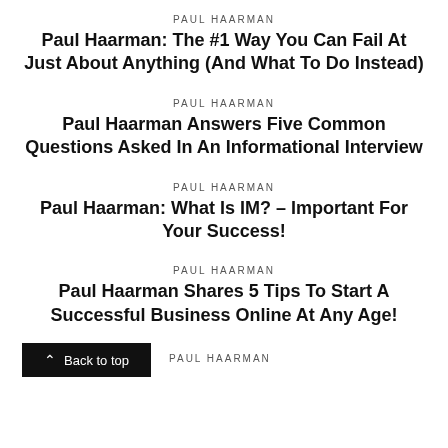PAUL HAARMAN
Paul Haarman: The #1 Way You Can Fail At Just About Anything (And What To Do Instead)
PAUL HAARMAN
Paul Haarman Answers Five Common Questions Asked In An Informational Interview
PAUL HAARMAN
Paul Haarman: What Is IM? – Important For Your Success!
PAUL HAARMAN
Paul Haarman Shares 5 Tips To Start A Successful Business Online At Any Age!
PAUL HAARMAN